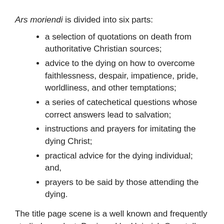Ars moriendi is divided into six parts:
a selection of quotations on death from authoritative Christian sources;
advice to the dying on how to overcome faithlessness, despair, impatience, pride, worldliness, and other temptations;
a series of catechetical questions whose correct answers lead to salvation;
instructions and prayers for imitating the dying Christ;
practical advice for the dying individual; and,
prayers to be said by those attending the dying.
The title page scene is a well known and frequently studied woodcut. Designed by Heinrich Quentell, Cologne’s most successful and prolific printer of the late fifteenth century, it depicts St. Thomas instructing two children who are seated before him.